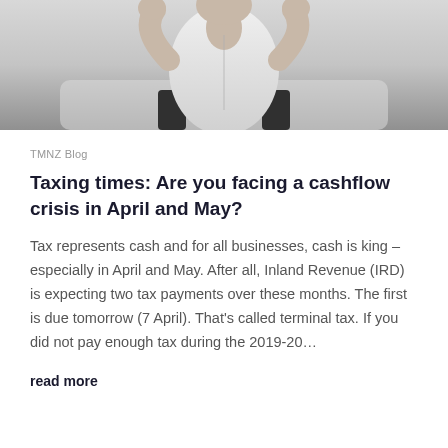[Figure (photo): Black and white photo of a person in a white shirt sitting with hands on head in a stressed posture]
TMNZ Blog
Taxing times: Are you facing a cashflow crisis in April and May?
Tax represents cash and for all businesses, cash is king – especially in April and May. After all, Inland Revenue (IRD) is expecting two tax payments over these months. The first is due tomorrow (7 April). That's called terminal tax. If you did not pay enough tax during the 2019-20…
read more